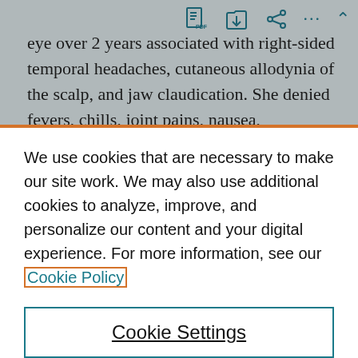eye over 2 years associated with right-sided temporal headaches, cutaneous allodynia of the scalp, and jaw claudication. She denied fevers, chills, joint pains, nausea, photophobia, phonophobia, personal history of
We use cookies that are necessary to make our site work. We may also use additional cookies to analyze, improve, and personalize our content and your digital experience. For more information, see our Cookie Policy
Cookie Settings
Accept all cookies